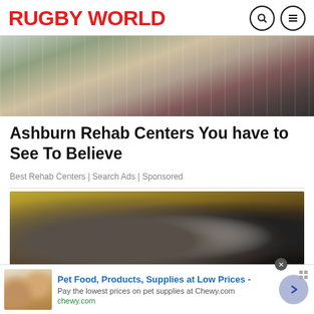RUGBY WORLD
[Figure (photo): Close-up of scattered items on ground including clothing and bags]
Ashburn Rehab Centers You have to See To Believe
Best Rehab Centers | Search Ads | Sponsored
[Figure (photo): Three people at a rugby event, one bald man smiling, another wearing a black cap with logo]
[Figure (photo): Pet Food, Products, Supplies at Low Prices - advertisement banner with Chewy.com product image]
Pet Food, Products, Supplies at Low Prices -
Pay the lowest prices on pet supplies at Chewy.com
chewy.com